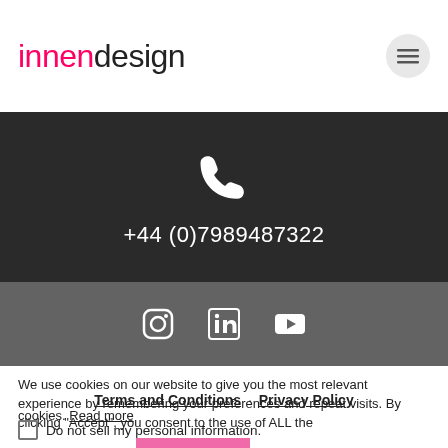innendesign
[Figure (infographic): Dark banner with a white phone/call icon and phone number +44 (0)7989487322]
[Figure (infographic): Dark grey social media icons bar with Instagram, LinkedIn, and YouTube icons]
We use cookies on our website to give you the most relevant experience by remembering your preferences and repeat visits. By clicking "Accept", you consent to the use of ALL the cookies. Read more
Terms and Conditions · Privacy Policy
Do not sell my personal information.
Cookie settings   ACCEPT